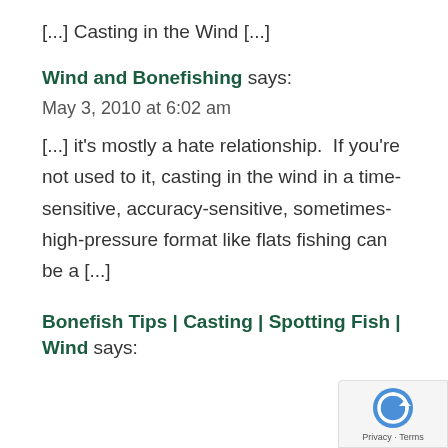[...] Casting in the Wind [...]
Wind and Bonefishing says:
May 3, 2010 at 6:02 am
[...] it’s mostly a hate relationship.  If you’re not used to it, casting in the wind in a time-sensitive, accuracy-sensitive, sometimes-high-pressure format like flats fishing can be a [...]
Bonefish Tips | Casting | Spotting Fish | Wind says: